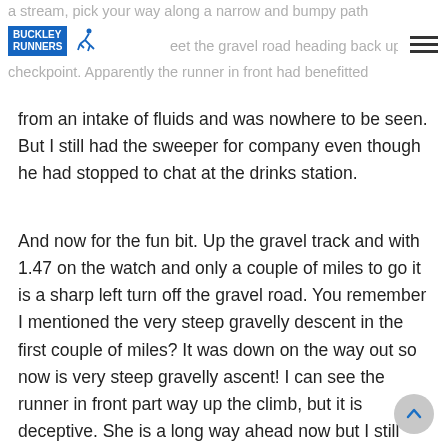Buckley Runners — a stream, pick your way along a narrow and bumpy path … meet the gravel road heading back up towards the checkpoint. Apparently the runner in front had benefitted
from an intake of fluids and was nowhere to be seen. But I still had the sweeper for company even though he had stopped to chat at the drinks station.
And now for the fun bit. Up the gravel track and with 1.47 on the watch and only a couple of miles to go it is a sharp left turn off the gravel road. You remember I mentioned the very steep gravelly descent in the first couple of miles? It was down on the way out so now is very steep gravelly ascent! I can see the runner in front part way up the climb, but it is deceptive. She is a long way ahead now but I still have the sweeper behind me. It's only a hill and eventually even I get to the top, a tired run down a slope, a brief climb up to the last peak and it's all downhill to the finish. It's a welcome sight and with 2.21.37 on the watch and two bottles of wine